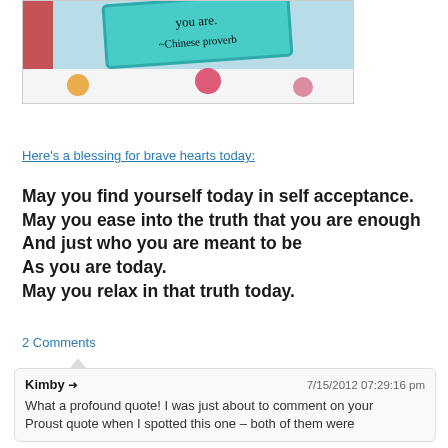[Figure (photo): Photo of a teal/turquoise card with handwritten text 'you are. ~Chinese Proverb' on a white surface with colorful polka dots]
Here's a blessing for brave hearts today:
May you find yourself today in self acceptance.
May you ease into the truth that you are enough
And just who you are meant to be
As you are today.
May you relax in that truth today.
2 Comments
Kimby ➜  7/15/2012 07:29:16 pm
What a profound quote! I was just about to comment on your Proust quote when I spotted this one – both of them were